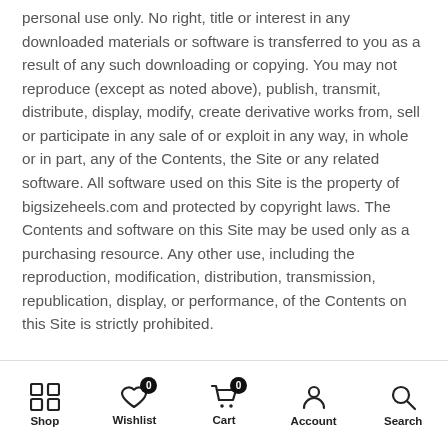personal use only. No right, title or interest in any downloaded materials or software is transferred to you as a result of any such downloading or copying. You may not reproduce (except as noted above), publish, transmit, distribute, display, modify, create derivative works from, sell or participate in any sale of or exploit in any way, in whole or in part, any of the Contents, the Site or any related software. All software used on this Site is the property of bigsizeheels.com and protected by copyright laws. The Contents and software on this Site may be used only as a purchasing resource. Any other use, including the reproduction, modification, distribution, transmission, republication, display, or performance, of the Contents on this Site is strictly prohibited.
Shop | Wishlist 0 | Cart 0 | Account | Search